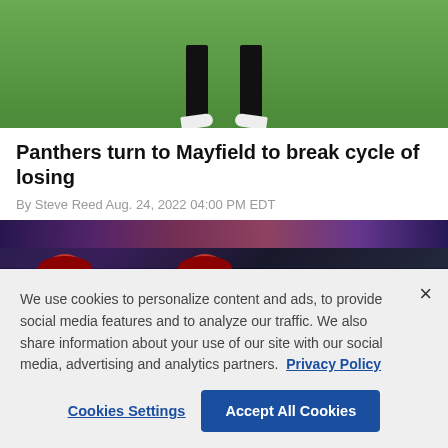[Figure (photo): Top portion of a football player's legs and shoes on a grass field, cropped view showing only lower legs and cleats]
Panthers turn to Mayfield to break cycle of losing
By Steve Reed Aug. 24, 2022 04:00 PM EDT
[Figure (photo): Two players wearing red caps celebrating in a stadium at night, crowded stadium with colorful lights in the background]
We use cookies to personalize content and ads, to provide social media features and to analyze our traffic. We also share information about your use of our site with our social media, advertising and analytics partners.  Privacy Policy
Cookies Settings    Accept All Cookies